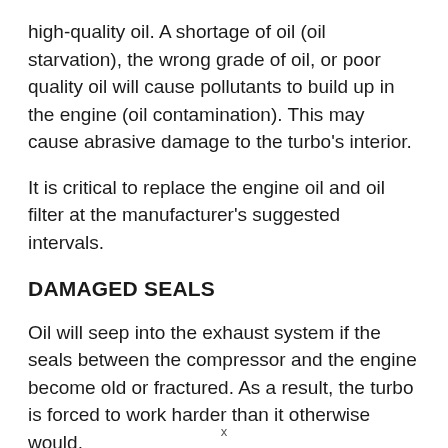high-quality oil. A shortage of oil (oil starvation), the wrong grade of oil, or poor quality oil will cause pollutants to build up in the engine (oil contamination). This may cause abrasive damage to the turbo's interior.
It is critical to replace the engine oil and oil filter at the manufacturer's suggested intervals.
DAMAGED SEALS
Oil will seep into the exhaust system if the seals between the compressor and the engine become old or fractured. As a result, the turbo is forced to work harder than it otherwise would.
x